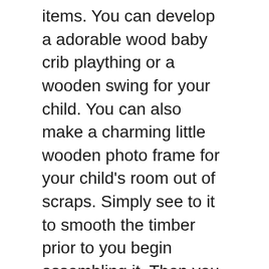items. You can develop a adorable wood baby crib plaything or a wooden swing for your child. You can also make a charming little wooden photo frame for your child's room out of scraps. Simply see to it to smooth the timber prior to you begin assembling it. Then you can alter the design to represent anything you desire.
Easy woodworking projects for youngsters
Whether you're looking for a means to obtain your kids involved in a meaningful task or just intend to show them that you care, there are numerous easy woodworking projects for youngsters to take into consideration. Woodworking tasks are enjoyable as well as engaging for kids, as well as they can